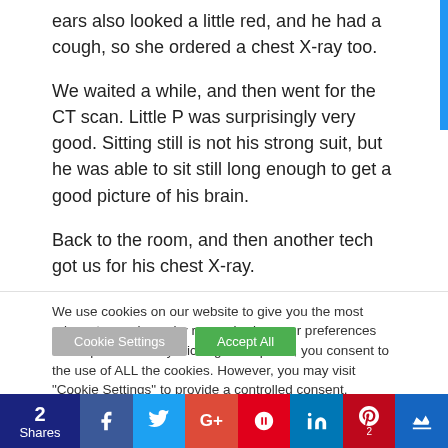ears also looked a little red, and he had a cough, so she ordered a chest X-ray too.
We waited a while, and then went for the CT scan. Little P was surprisingly very good. Sitting still is not his strong suit, but he was able to sit still long enough to get a good picture of his brain.
Back to the room, and then another tech got us for his chest X-ray.
We use cookies on our website to give you the most relevant experience by remembering your preferences and repeat visits. By clicking “Accept All”, you consent to the use of ALL the cookies. However, you may visit "Cookie Settings" to provide a controlled consent.
2 Shares | Facebook | Twitter | Google+ | Flipboard | LinkedIn | Pinterest 2 | Crown